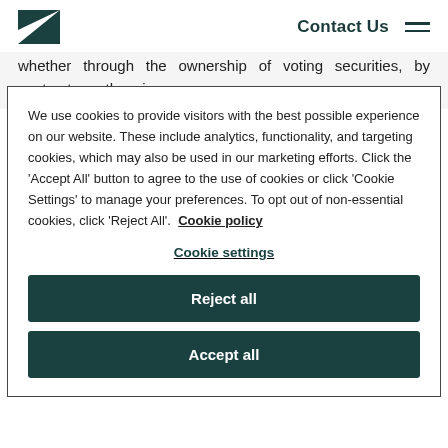Contact Us
whether through the ownership of voting securities, by contract, or otherwise.
We use cookies to provide visitors with the best possible experience on our website. These include analytics, functionality, and targeting cookies, which may also be used in our marketing efforts. Click the 'Accept All' button to agree to the use of cookies or click 'Cookie Settings' to manage your preferences. To opt out of non-essential cookies, click 'Reject All'. Cookie policy
Cookie settings
Reject all
Accept all